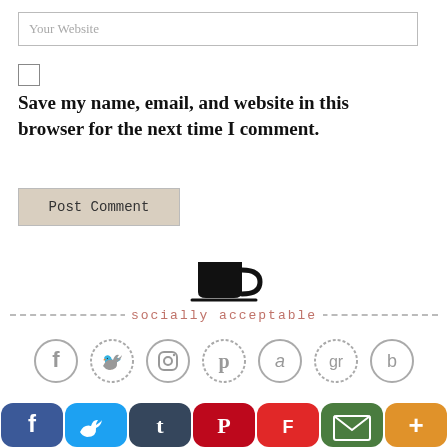Your Website
Save my name, email, and website in this browser for the next time I comment.
Post Comment
[Figure (illustration): Coffee cup icon (black silhouette of a coffee mug with handle and saucer line)]
socially acceptable
[Figure (illustration): Row of 7 gray circular social media icons: Facebook, Twitter, Instagram, Pinterest, Amazon, Goodreads, Bloglovin]
[Figure (illustration): Row of 7 colored rounded-rectangle social share buttons: Facebook (dark blue), Twitter (light blue), Tumblr (dark blue-gray), Pinterest (red), Flipboard (red), Email (green), More/Plus (orange)]